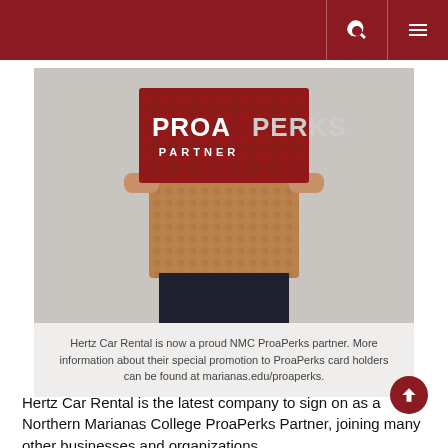NMC ProaPerks Partner
[Figure (photo): Person holding a red ProaPerks Partner sign with geometric diamond pattern. The sign reads PROAPERKS PARTNER. The person is wearing a patterned shirt.]
Hertz Car Rental is now a proud NMC ProaPerks partner. More information about their special promotion to ProaPerks card holders can be found at marianas.edu/proaperks.
Hertz Car Rental is the latest company to sign on as a Northern Marianas College ProaPerks Partner, joining many other businesses and organizations.
All card-carrying members of the NMC ProaPerks program can now receive a preferred daily rate package, inclusive of Loss Damage Waiver insurance with a $500 deductible and applicable taxes. More information about Hertz's